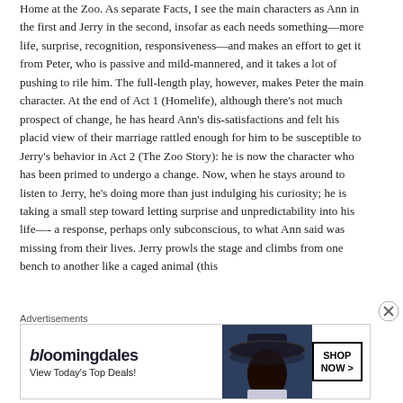Home at the Zoo. As separate Facts, I see the main characters as Ann in the first and Jerry in the second, insofar as each needs something—more life, surprise, recognition, responsiveness—and makes an effort to get it from Peter, who is passive and mild-mannered, and it takes a lot of pushing to rile him. The full-length play, however, makes Peter the main character. At the end of Act 1 (Homelife), although there's not much prospect of change, he has heard Ann's dis-satisfactions and felt his placid view of their marriage rattled enough for him to be susceptible to Jerry's behavior in Act 2 (The Zoo Story): he is now the character who has been primed to undergo a change. Now, when he stays around to listen to Jerry, he's doing more than just indulging his curiosity; he is taking a small step toward letting surprise and unpredictability into his life—-a response, perhaps only subconscious, to what Ann said was missing from their lives. Jerry prowls the stage and climbs from one bench to another like a caged animal (this
Advertisements
[Figure (other): Bloomingdale's advertisement banner: logo text 'bloomingdales', tagline 'View Today's Top Deals!', image of woman in dark wide-brim hat, and 'SHOP NOW >' button]